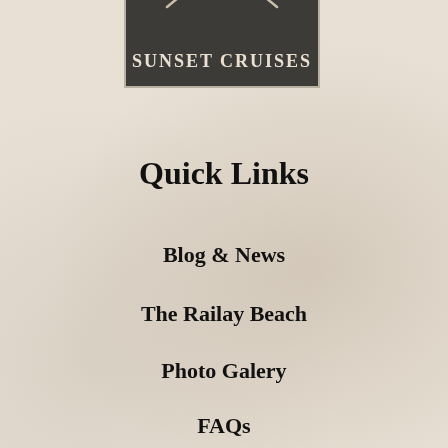[Figure (logo): Sunset Cruises logo: dark charcoal square with two crossed swords/sabers and the text 'SUNSET CRUISES' in white serif letters]
Quick Links
Blog & News
The Railay Beach
Photo Galery
FAQs